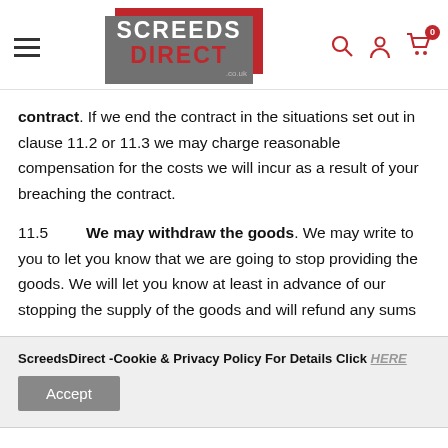Screedsdirect.co.uk header with logo and navigation icons
contract. If we end the contract in the situations set out in clause 11.2 or 11.3 we may charge reasonable compensation for the costs we will incur as a result of your breaching the contract.
11.5   We may withdraw the goods. We may write to you to let you know that we are going to stop providing the goods. We will let you know at least in advance of our stopping the supply of the goods and will refund any sums
ScreedsDirect -Cookie & Privacy Policy For Details Click HERE
Accept